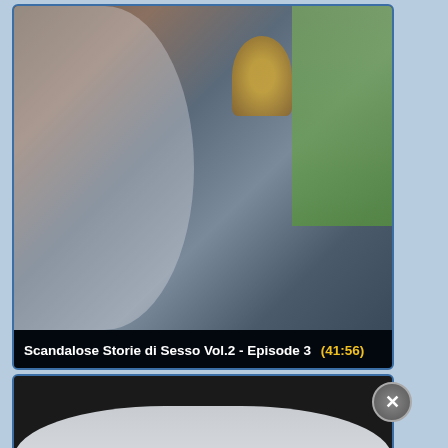[Figure (screenshot): Video thumbnail showing bedroom scene with figures, veil in foreground, lamp and window in background]
Scandalose Storie di Sesso Vol.2 - Episode 3 (41:56)
[Figure (screenshot): Second video thumbnail showing white/light colored scene with veil-like fabric, black bar at top, close button overlay]